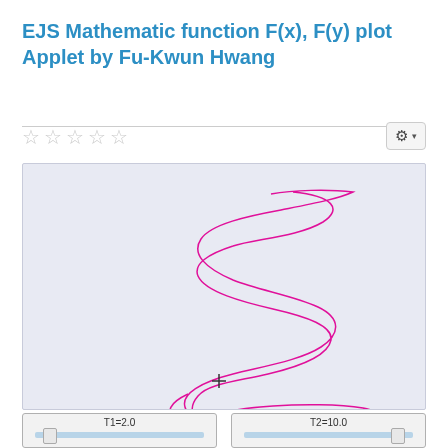EJS Mathematic function F(x), F(y) plot Applet by Fu-Kwun Hwang
[Figure (continuous-plot): A spiral/parametric curve plot showing a magenta/pink spiral-like curve (resembling a spring or helix viewed from side) on a light blue-grey background. The curve winds multiple times forming elongated loops, with a '+' crosshair marker near the bottom center.]
T1=2.0
T2=10.0